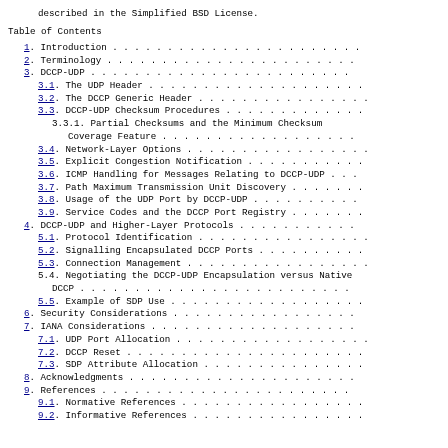described in the Simplified BSD License.
Table of Contents
1.  Introduction
2.  Terminology
3.  DCCP-UDP
3.1.  The UDP Header
3.2.  The DCCP Generic Header
3.3.  DCCP-UDP Checksum Procedures
3.3.1.  Partial Checksums and the Minimum Checksum Coverage Feature
3.4.  Network-Layer Options
3.5.  Explicit Congestion Notification
3.6.  ICMP Handling for Messages Relating to DCCP-UDP
3.7.  Path Maximum Transmission Unit Discovery
3.8.  Usage of the UDP Port by DCCP-UDP
3.9.  Service Codes and the DCCP Port Registry
4.   DCCP-UDP and Higher-Layer Protocols
5.1.  Protocol Identification
5.2.  Signalling Encapsulated DCCP Ports
5.3.  Connection Management
5.4.  Negotiating the DCCP-UDP Encapsulation versus Native DCCP
5.5.  Example of SDP Use
6.   Security Considerations
7.   IANA Considerations
7.1.  UDP Port Allocation
7.2.  DCCP Reset
7.3.  SDP Attribute Allocation
8.   Acknowledgments
9.   References
9.1.  Normative References
9.2.  Informative References